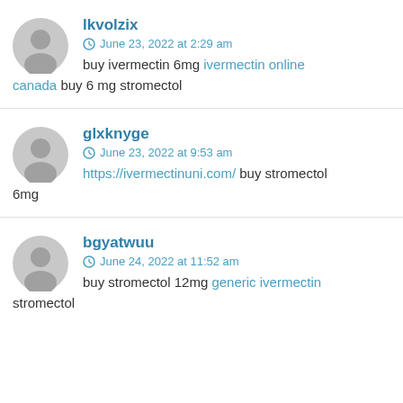lkvolzix
June 23, 2022 at 2:29 am
buy ivermectin 6mg ivermectin online canada buy 6 mg stromectol
glxknyge
June 23, 2022 at 9:53 am
https://ivermectinuni.com/ buy stromectol 6mg
bgyatwuu
June 24, 2022 at 11:52 am
buy stromectol 12mg generic ivermectin stromectol